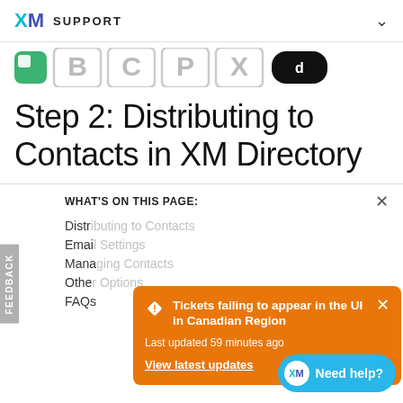XM SUPPORT
[Figure (logo): Partner/integration logos strip showing colored icons including green, gray, and black logos]
Step 2: Distributing to Contacts in XM Directory
WHAT'S ON THIS PAGE:
Distr...
Emai...
Mana...
Othe...
FAQs
[Figure (screenshot): Orange alert/notification popup: 'Tickets failing to appear in the UI in Canadian Region. Last updated 59 minutes ago. View latest updates.']